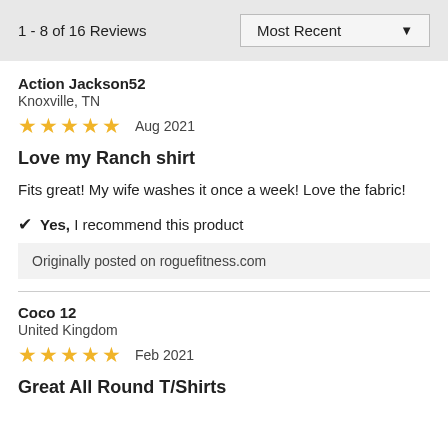1 - 8 of 16 Reviews | Most Recent
Action Jackson52
Knoxville, TN
★★★★★  Aug 2021
Love my Ranch shirt
Fits great! My wife washes it once a week! Love the fabric!
✔ Yes, I recommend this product
Originally posted on roguefitness.com
Coco 12
United Kingdom
★★★★★  Feb 2021
Great All Round T/Shirts